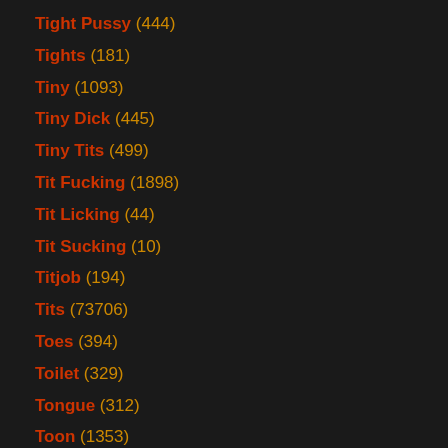Tight Pussy (444)
Tights (181)
Tiny (1093)
Tiny Dick (445)
Tiny Tits (499)
Tit Fucking (1898)
Tit Licking (44)
Tit Sucking (10)
Titjob (194)
Tits (73706)
Toes (394)
Toilet (329)
Tongue (312)
Toon (1353)
Topless (317)
Tourist (125)